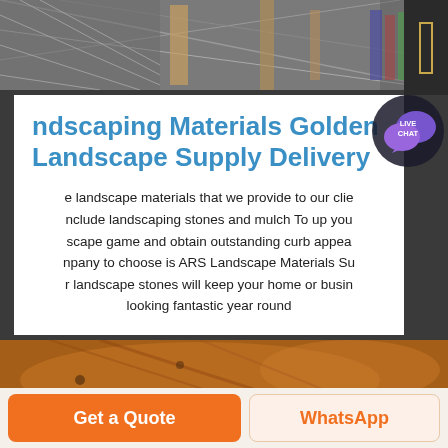[Figure (photo): Top photo showing landscaping materials, stones, and wooden frames with metal grid]
ndscaping Materials Golden Landscape Supply Delivery
e landscape materials that we provide to our clie nclude landscaping stones and mulch To up you scape game and obtain outstanding curb appea npany to choose is ARS Landscape Materials Su r landscape stones will keep your home or busin looking fantastic year round
[Figure (photo): Bottom photo showing rusted orange/brown landscape equipment or truck bed]
Get a Quote
WhatsApp